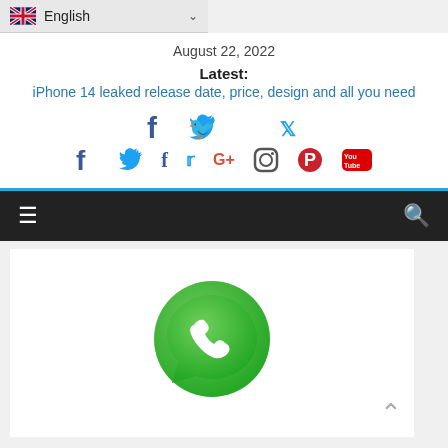English (language selector)
August 22, 2022
Latest:
iPhone 14 leaked release date, price, design and all you need
[Figure (infographic): Social media icons row: Facebook, Twitter, Google+, Instagram, Pinterest, YouTube]
[Figure (logo): WhatsApp logo — green circle with white phone handset icon and speech bubble tail]